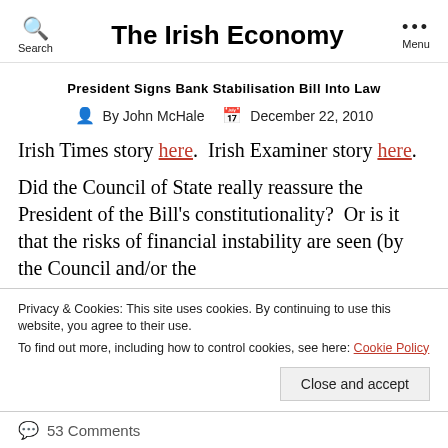The Irish Economy
President Signs Bank Stabilisation Bill Into Law
By John McHale   December 22, 2010
Irish Times story here.  Irish Examiner story here.
Did the Council of State really reassure the President of the Bill's constitutionality?  Or is it that the risks of financial instability are seen (by the Council and/or the
Privacy & Cookies: This site uses cookies. By continuing to use this website, you agree to their use.
To find out more, including how to control cookies, see here: Cookie Policy
53 Comments